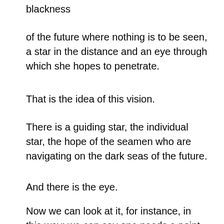blackness
of the future where nothing is to be seen, a star in the distance and an eye through which she hopes to penetrate.
That is the idea of this vision.
There is a guiding star, the individual star, the hope of the seamen who are navigating on the dark seas of the future.
And there is the eye.
Now we can look at it, for instance, in this way: we can say one needs a point of view, un point de depart, and one can it through the eye, but we can go the trouble